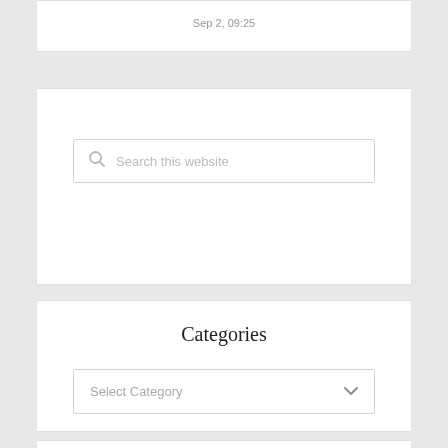Sep 2, 09:25
[Figure (screenshot): Search this website input box with magnifying glass icon]
Categories
[Figure (screenshot): Select Category dropdown widget]